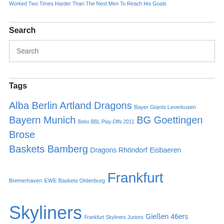Worked Two Times Harder Than The Next Men To Reach His Goals
Search
Search
Tags
Alba Berlin Artland Dragons Bayer Giants Leverkusen Bayern Munich Beko BBL Play-Offs 2011 BG Goettingen Brose Baskets Bamberg Dragons Rhöndorf Eisbaeren Bremerhaven EWE Baskets Oldenburg Frankfurt Skyliners Frankfurt Skyliners Juniors Gießen 46ers Larry Gordon medi Bayreuth MHP Riesen Ludwigsburg